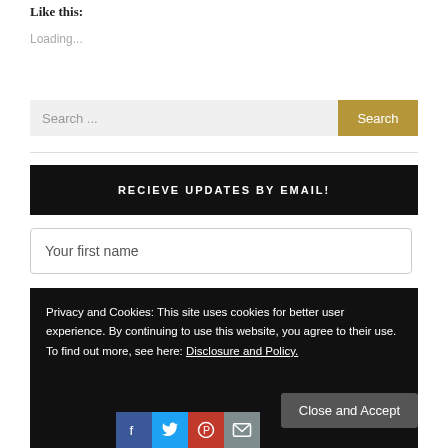Like this:
Loading...
Search ...
Search
RECIEVE UPDATES BY EMAIL!
Your first name
Privacy and Cookies: This site uses cookies for better user experience. By continuing to use this website, you agree to their use. To find out more, see here: Disclosure and Policy.
Close and Accept